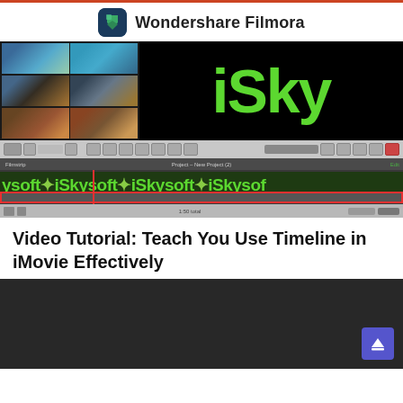Wondershare Filmora
[Figure (screenshot): iMovie video editing software screenshot showing film strip thumbnails on the left, a large black preview area with green 'iSky' logo text, toolbar controls, and timeline with iSkysoft branding repeated across the timeline track with a red playhead marker and red audio/video track bar at bottom]
Video Tutorial: Teach You Use Timeline in iMovie Effectively
[Figure (screenshot): Dark video player area (dark grey/black background) with a purple/blue back-to-top arrow button in the bottom right corner]